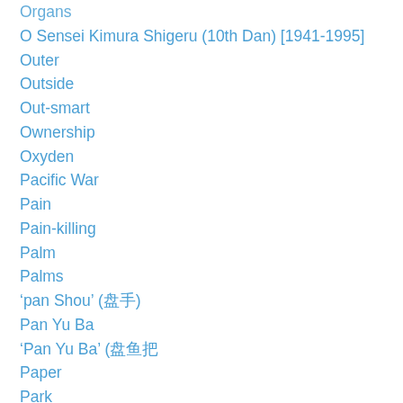Organs
O Sensei Kimura Shigeru (10th Dan) [1941-1995]
Outer
Outside
Out-smart
Ownership
Oxyden
Pacific War
Pain
Pain-killing
Palm
Palms
‘pan Shou’ (盘手)
Pan Yu Ba
'Pan Yu Ba' (盘鱼把
Paper
Park
Past
Patch
Pattern
Patterns